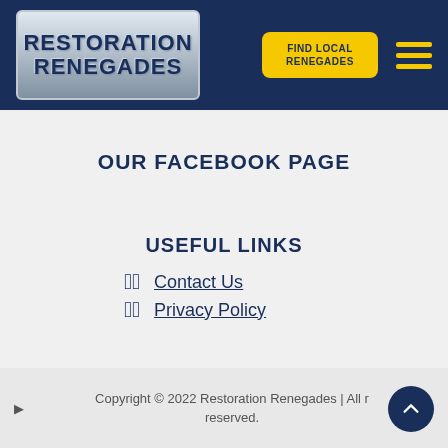[Figure (logo): Restoration Renegades logo with metallic styling on dark navy header background]
OUR FACEBOOK PAGE
USEFUL LINKS
Contact Us
Privacy Policy
Copyright © 2022 Restoration Renegades | All rights reserved.